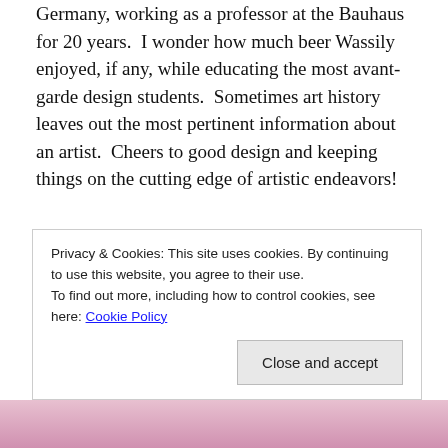Germany, working as a professor at the Bauhaus for 20 years.  I wonder how much beer Wassily enjoyed, if any, while educating the most avant-garde design students.  Sometimes art history leaves out the most pertinent information about an artist.  Cheers to good design and keeping things on the cutting edge of artistic endeavors!
The original oil painting sold. Limited-edition prints are available at our Etsy shop RealArtIsBetter.
Privacy & Cookies: This site uses cookies. By continuing to use this website, you agree to their use. To find out more, including how to control cookies, see here: Cookie Policy